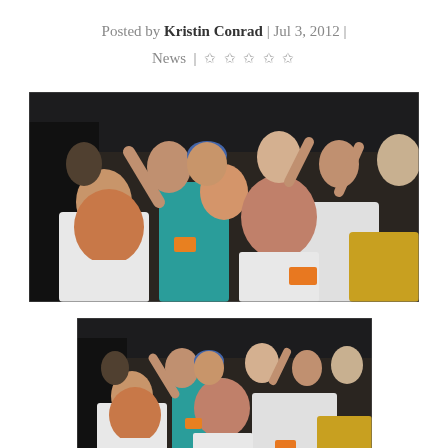Posted by Kristin Conrad | Jul 3, 2012 | News | ☆☆☆☆☆
[Figure (photo): A large group of enthusiastic young people celebrating and cheering, many wearing white t-shirts, some in a teal shirt; wide shot showing crowd.]
[Figure (photo): Same group of enthusiastic young people celebrating and cheering, cropped/zoomed version of the same scene as the first image above.]